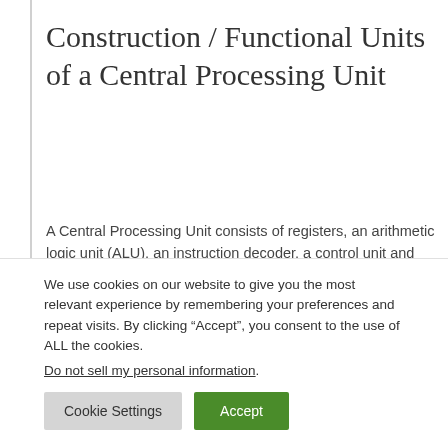Construction / Functional Units of a Central Processing Unit
A Central Processing Unit consists of registers, an arithmetic logic unit (ALU), an instruction decoder, a control unit and the data lines (buses), which allow the communication with other components. In addition,
We use cookies on our website to give you the most relevant experience by remembering your preferences and repeat visits. By clicking “Accept”, you consent to the use of ALL the cookies.
Do not sell my personal information.